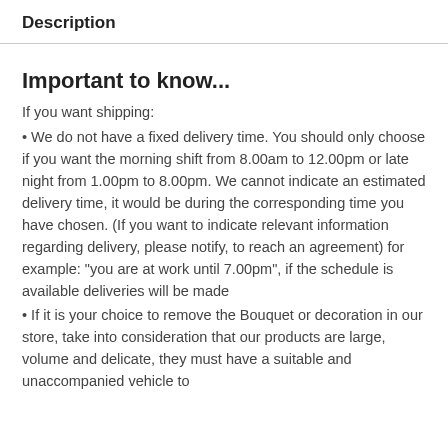Description
Important to know...
If you want shipping:
• We do not have a fixed delivery time. You should only choose if you want the morning shift from 8.00am to 12.00pm or late night from 1.00pm to 8.00pm. We cannot indicate an estimated delivery time, it would be during the corresponding time you have chosen. (If you want to indicate relevant information regarding delivery, please notify, to reach an agreement) for example: "you are at work until 7.00pm", if the schedule is available deliveries will be made
• If it is your choice to remove the Bouquet or decoration in our store, take into consideration that our products are large, volume and delicate, they must have a suitable and unaccompanied vehicle to